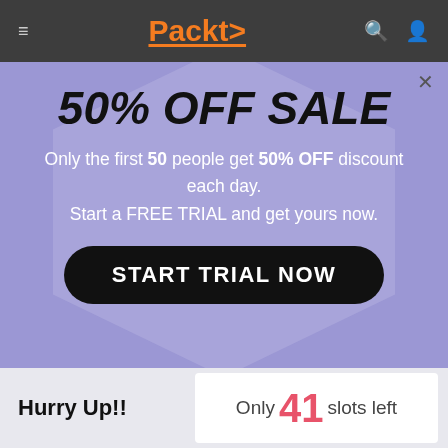Packt>
50% OFF SALE
Only the first 50 people get 50% OFF discount each day. Start a FREE TRIAL and get yours now.
START TRIAL NOW
Hurry Up!!
Only 41 slots left